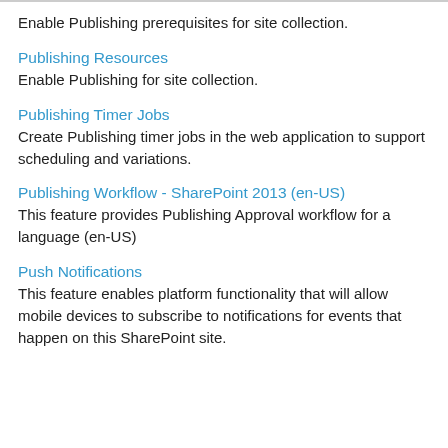Enable Publishing prerequisites for site collection.
Publishing Resources
Enable Publishing for site collection.
Publishing Timer Jobs
Create Publishing timer jobs in the web application to support scheduling and variations.
Publishing Workflow - SharePoint 2013 (en-US)
This feature provides Publishing Approval workflow for a language (en-US)
Push Notifications
This feature enables platform functionality that will allow mobile devices to subscribe to notifications for events that happen on this SharePoint site.